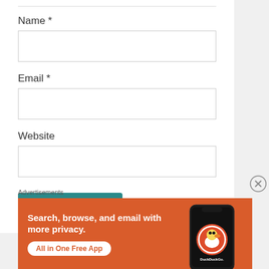Name *
Email *
Website
POST COMMENT
Advertisements
[Figure (screenshot): DuckDuckGo advertisement banner with orange background showing text 'Search, browse, and email with more privacy. All in One Free App' with a phone image and DuckDuckGo logo]